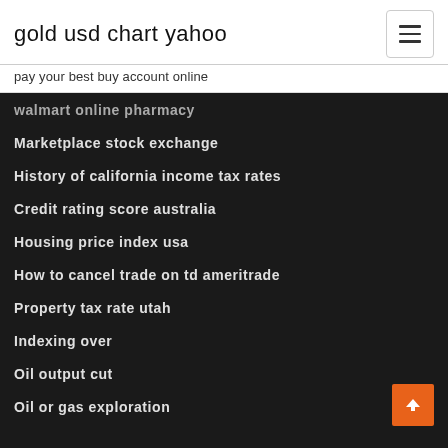gold usd chart yahoo
pay your best buy account online
walmart online pharmacy
Marketplace stock exchange
History of california income tax rates
Credit rating score australia
Housing price index usa
How to cancel trade on td ameritrade
Property tax rate utah
Indexing over
Oil output cut
Oil or gas exploration